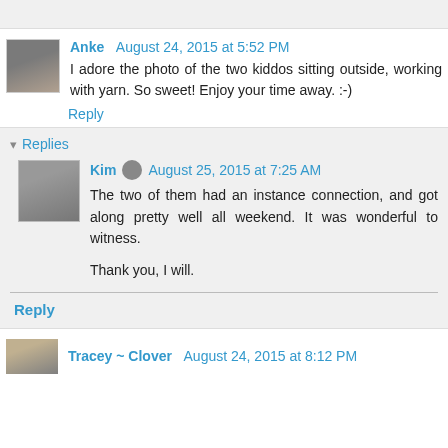Anke  August 24, 2015 at 5:52 PM
I adore the photo of the two kiddos sitting outside, working with yarn. So sweet! Enjoy your time away. :-)
Reply
▾ Replies
Kim  August 25, 2015 at 7:25 AM
The two of them had an instance connection, and got along pretty well all weekend. It was wonderful to witness.

Thank you, I will.
Reply
Tracey ~ Clover  August 24, 2015 at 8:12 PM